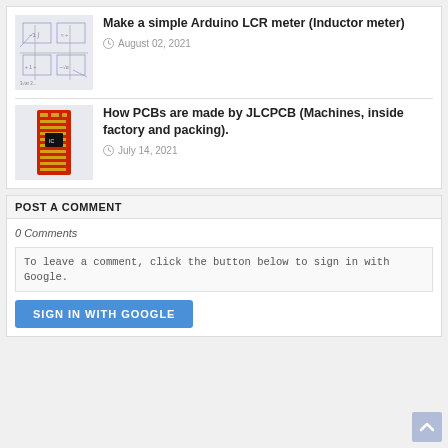[Figure (screenshot): Thumbnail of Arduino LCR meter schematic drawing]
Make a simple Arduino LCR meter (Inductor meter)
August 02, 2021
[Figure (photo): Thumbnail of red PCB board]
How PCBs are made by JLCPCB (Machines, inside factory and packing).
July 14, 2021
POST A COMMENT
0 Comments
To leave a comment, click the button below to sign in with Google.
SIGN IN WITH GOOGLE